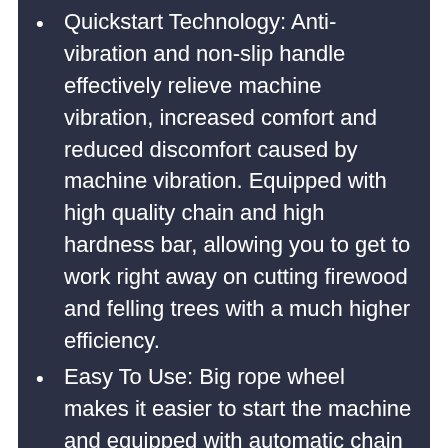Quickstart Technology: Anti-vibration and non-slip handle effectively relieve machine vibration, increased comfort and reduced discomfort caused by machine vibration. Equipped with high quality chain and high hardness bar, allowing you to get to work right away on cutting firewood and felling trees with a much higher efficiency.
Easy To Use: Big rope wheel makes it easier to start the machine and equipped with automatic chain oiler keeps bar and chain lubricated extends the life of the chainsaw. Ensure that the user can quickly use the chain saw with the fewer cord pulls. Excellent for gardening and landscaping.
Saving Fuel Consumption: Reinforced wear-resistant chain with good wear resistance. Incredible power, even medium and large jobs can be finished easily and efficiently, Air